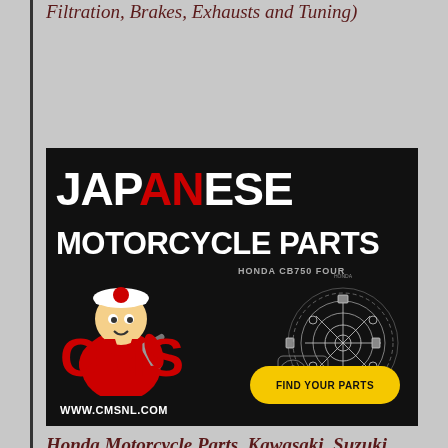Filtration, Brakes, Exhausts and Tuning)
[Figure (illustration): CMS Japanese Motorcycle Parts advertisement banner on black background. Features large bold text 'JAPANESE MOTORCYCLE PARTS', 'HONDA CB750 FOUR' subtitle, anime-style mechanic character with wrench wearing red uniform with CMS logo, engine diagram blueprint of Honda CB750 Four, yellow 'FIND YOUR PARTS' button, 'CMS' text in red, and 'WWW.CMSNL.COM' website URL.]
Honda Motorcycle Parts, Kawasaki, Suzuki...